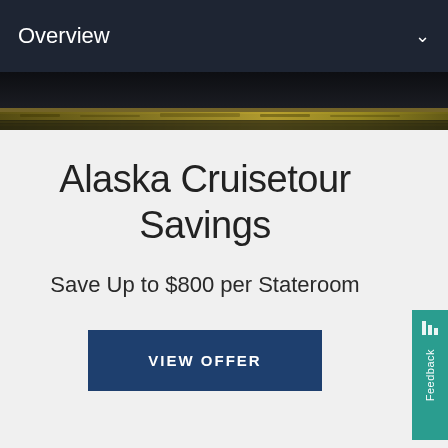Overview
[Figure (photo): Narrow panoramic hero image showing an Alaskan landscape with dark sky and golden shoreline]
Alaska Cruisetour Savings
Save Up to $800 per Stateroom
VIEW OFFER